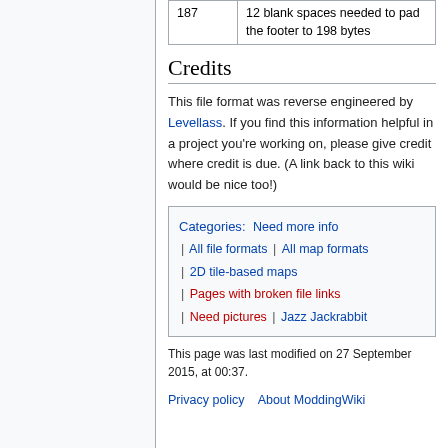|  |  |
| --- | --- |
| 187 | 12 blank spaces needed to pad the footer to 198 bytes |
Credits
This file format was reverse engineered by Levellass. If you find this information helpful in a project you're working on, please give credit where credit is due. (A link back to this wiki would be nice too!)
Categories: Need more info | All file formats | All map formats | 2D tile-based maps | Pages with broken file links | Need pictures | Jazz Jackrabbit
This page was last modified on 27 September 2015, at 00:37.
Privacy policy   About ModdingWiki